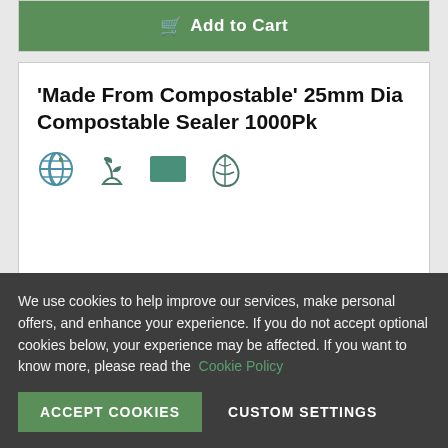[Figure (other): Add to Cart button (green background with cart icon)]
'Made From Compostable' 25mm Dia Compostable Sealer 1000Pk
[Figure (other): Row of four eco/compostable icons: globe, plant in hand, green rectangle, leaf]
SIZE: 25mm Diameter
QTY: 1000
We use cookies to help improve our services, make personal offers, and enhance your experience. If you do not accept optional cookies below, your experience may be affected. If you want to know more, please read the Cookie Policy
ACCEPT COOKIES
CUSTOM SETTINGS